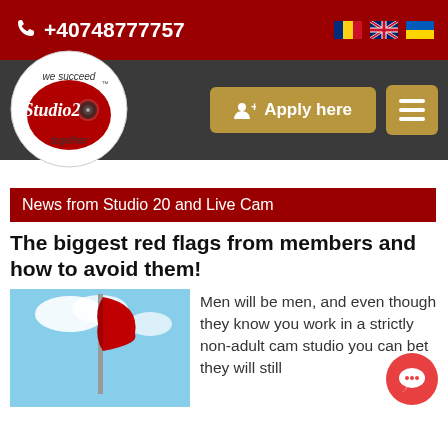+40748777757
[Figure (logo): Studio 20 logo - circular badge with 'we succeed together' text and camera icon]
[Figure (screenshot): Apply here button (gold) and hamburger menu button (gold) on dark nav bar]
News from Studio 20 and Live Cam
The biggest red flags from members and how to avoid them!
[Figure (photo): Red flag waving against blue sky background]
Men will be men, and even though they know you work in a strictly non-adult cam studio you can bet they will still